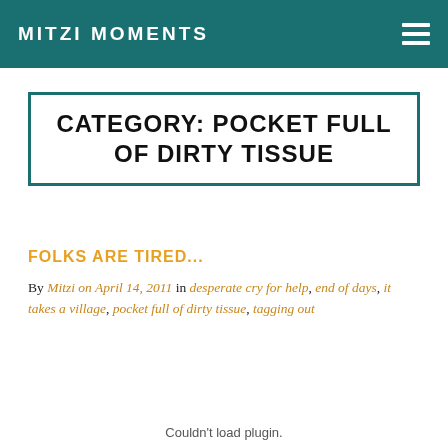MITZI MOMENTS
CATEGORY: POCKET FULL OF DIRTY TISSUE
FOLKS ARE TIRED...
By Mitzi on April 14, 2011 in desperate cry for help, end of days, it takes a village, pocket full of dirty tissue, tagging out
Couldn't load plugin.